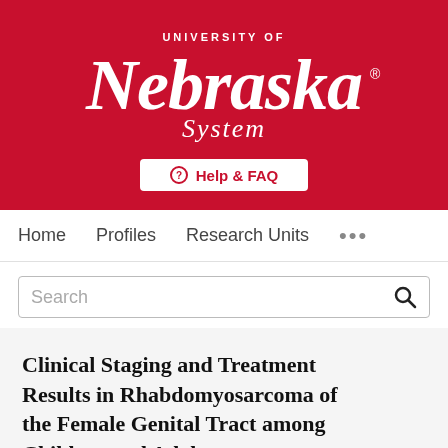[Figure (logo): University of Nebraska System logo — white serif italic 'Nebraska' text with 'UNIVERSITY OF' above and 'System' below, on red background with a Help & FAQ button]
Home   Profiles   Research Units   ...
Search
Clinical Staging and Treatment Results in Rhabdomyosarcoma of the Female Genital Tract among Children and Adolescents
Daniel M. Hays, Hiroyuki Shimada, R. Beverly Raney, Melvin